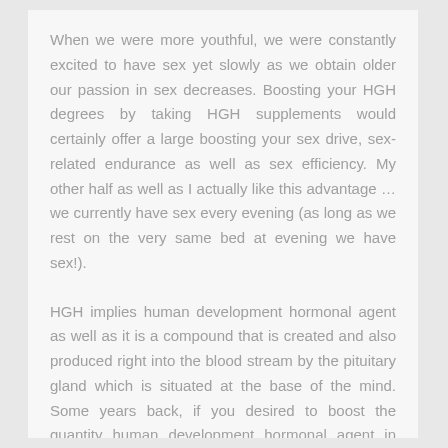When we were more youthful, we were constantly excited to have sex yet slowly as we obtain older our passion in sex decreases. Boosting your HGH degrees by taking HGH supplements would certainly offer a large boosting your sex drive, sex-related endurance as well as sex efficiency. My other half as well as I actually like this advantage … we currently have sex every evening (as long as we rest on the very same bed at evening we have sex!).
HGH implies human development hormonal agent as well as it is a compound that is created and also produced right into the blood stream by the pituitary gland which is situated at the base of the mind. Some years back, if you desired to boost the quantity human development hormonal agent in your blood stream, after that you had actually to be infused